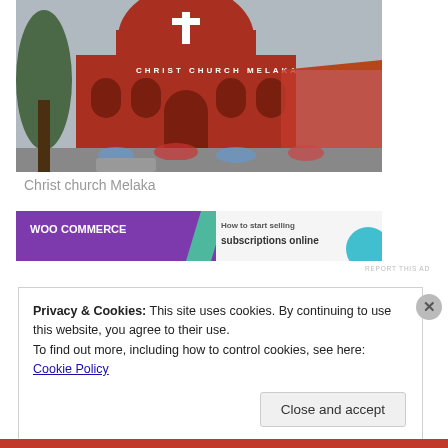[Figure (photo): Photograph of Christ Church Melaka, a red colonial-era church with a white cross on the dome and the text CHRIST CHURCH MELAKA on the facade. Crowds of people are visible in front.]
Christ church Melaka
[Figure (screenshot): WooCommerce advertisement banner: purple/violet background with WooCommerce logo on left, and text 'How to start selling subscriptions online' on right with a teal circular graphic.]
Privacy & Cookies: This site uses cookies. By continuing to use this website, you agree to their use.
To find out more, including how to control cookies, see here: Cookie Policy
Close and accept